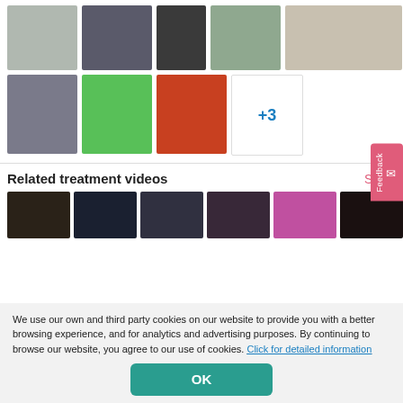[Figure (photo): Grid of before/after patient photos (9 thumbnails) with a +3 more indicator]
Related treatment videos
[Figure (screenshot): Row of 6 video thumbnails related to treatment videos]
We use our own and third party cookies on our website to provide you with a better browsing experience, and for analytics and advertising purposes. By continuing to browse our website, you agree to our use of cookies. Click for detailed information
OK